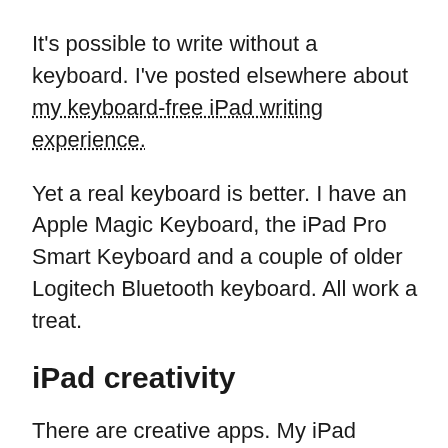It's possible to write without a keyboard. I've posted elsewhere about my keyboard-free iPad writing experience.
Yet a real keyboard is better. I have an Apple Magic Keyboard, the iPad Pro Smart Keyboard and a couple of older Logitech Bluetooth keyboard. All work a treat.
iPad creativity
There are creative apps. My iPad doubles as a music workstation, photo editing terminal and games machine. Apple's Pencil helps when it comes to fine drawing or other on screen work.
I also download magazines, books, audio books, podcasts and music. It's a great reader.